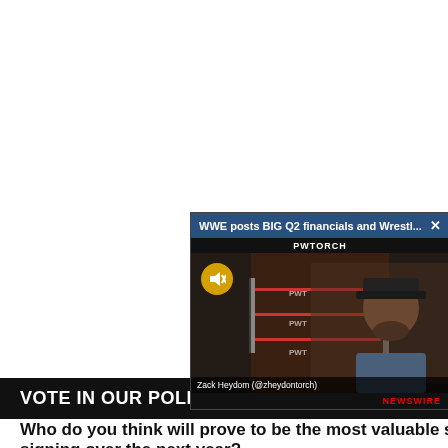[Figure (screenshot): A video player overlay showing a person (Zack Heydom @zheydontorch) in front of a wrestling ring. The video has a PWTORCH watermark, a mute button, and a title bar reading 'WWE posts BIG Q2 financials and Wrestl...' with a close button. Below the video is a NEWSWIRE label.]
VOTE IN OUR POLLS
Who do you think will prove to be the most valuable s signing over the next year?